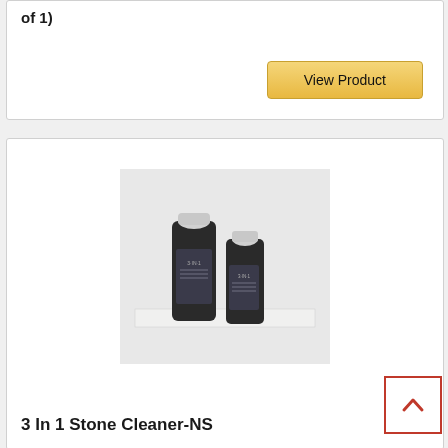of 1)
View Product
[Figure (photo): Two dark spray bottles with white caps labeled '3-IN-1' stone cleaner product, placed on a white surface against a light background.]
3 In 1 Stone Cleaner-NS